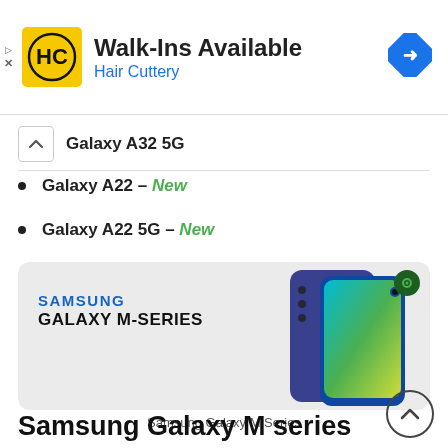[Figure (advertisement): Hair Cuttery ad banner: HC logo in yellow square, headline 'Walk-Ins Available', subtext 'Hair Cuttery' in blue, blue diamond navigation arrow icon on right]
Galaxy A32 5G
Galaxy A22 – New
Galaxy A22 5G – New
[Figure (advertisement): Samsung Galaxy M-Series advertisement banner with blue smartphones and teal/green gradient display, SAMSUNG text in blue, GALAXY M-SERIES in bold black]
Samsung Galaxy M Series
Samsung Galaxy M series